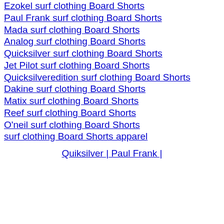Ezokel surf clothing Board Shorts
Paul Frank surf clothing Board Shorts
Mada surf clothing Board Shorts
Analog surf clothing Board Shorts
Quicksilver surf clothing Board Shorts
Jet Pilot surf clothing Board Shorts
Quicksilveredition surf clothing Board Shorts
Dakine surf clothing Board Shorts
Matix surf clothing Board Shorts
Reef surf clothing Board Shorts
O'neil surf clothing Board Shorts
surf clothing Board Shorts apparel
Quiksilver | Paul Frank |